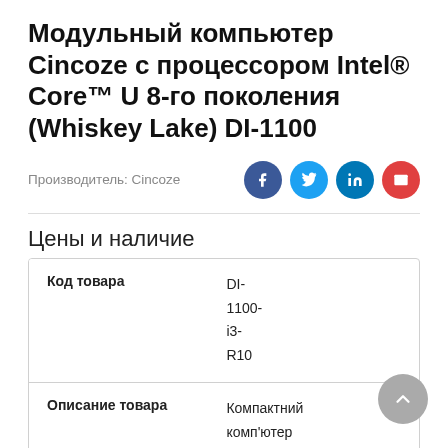Модульный компьютер Cincoze с процессором Intel® Core™ U 8-го поколения (Whiskey Lake) DI-1100
Производитель: Cincoze
Цены и наличие
| Код товара |  |
| --- | --- |
| Код товара | DI-1100-i3-R10 |
| Описание товара | Компактний комп'ютер С... |
[Figure (other): Scroll to top button]